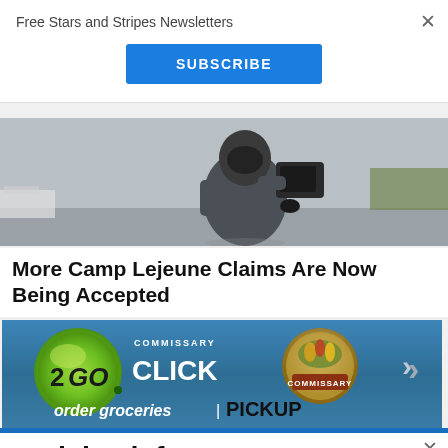Free Stars and Stripes Newsletters
SUBSCRIBE
[Figure (photo): Person in protective gear/hazmat suit holding equipment, grey overcast sky background]
More Camp Lejeune Claims Are Now Being Accepted
[Figure (infographic): Commissary Click2Go advertisement banner with green circle logo, commissary badge, and text 'order groceries | PICKUP']
Articles left: 4
Subscribe to get unlimited access  Subscribe
Already have an account?  Login here